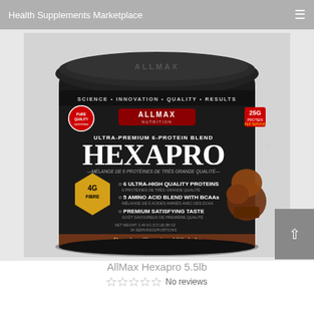Health Supplements Marketplace
[Figure (photo): ALLMAX Nutrition HexaPro Ultra-Premium 6-Protein Blend protein powder tub, 5.5lb, Decadent Chocolate Milkshake flavor. Black container with hexagonal design, showing 25G Protein, 4G Fibre, 6 Ultra-High Quality Proteins, 5 Amino Acid Blend with BCAAs, Premium Satisfying Taste. 34 servings/portions.]
AllMax Hexapro 5.5lb
No reviews